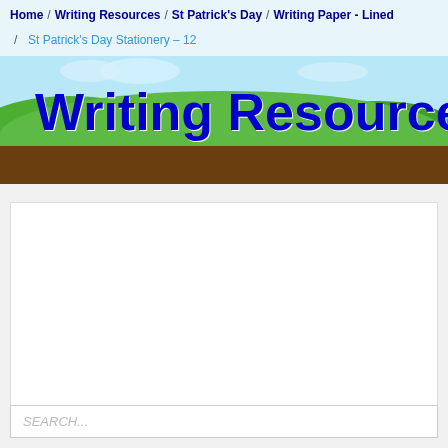Home / Writing Resources / St Patrick's Day / Writing Paper - Lined / St Patrick's Day Stationery – 12
[Figure (illustration): Educational website banner with 'Writing Resources' title in bold dark blue on a background of green hills, blue sky, brown earth, and cartoon landscape elements.]
[Figure (other): White content/advertisement box placeholder]
SEARCH...